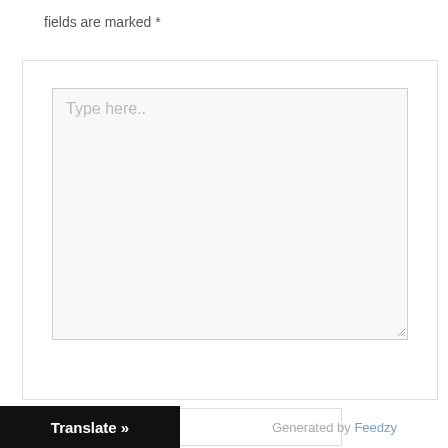fields are marked *
[Figure (screenshot): A web form textarea with placeholder text 'Type here..' inside a light gray box with a resize handle, nested within a larger bordered container box.]
Name*
Translate »
Generated by Feedzy